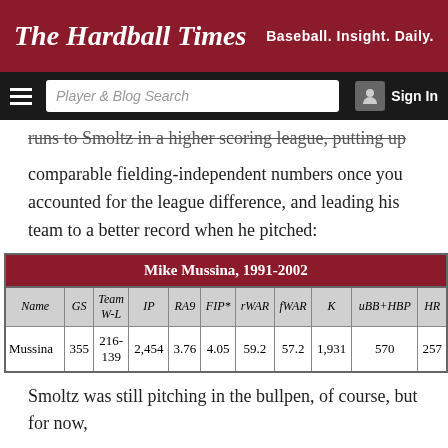The Hardball Times — Baseball. Insight. Daily.
runs to Smoltz in a higher scoring league, putting up comparable fielding-independent numbers once you accounted for the league difference, and leading his team to a better record when he pitched:
| Name | GS | Team W-L | IP | RA9 | FIP* | rWAR | fWAR | K | uBB+HBP | HR |
| --- | --- | --- | --- | --- | --- | --- | --- | --- | --- | --- |
| Mussina | 355 | 216-139 | 2,454 | 3.76 | 4.05 | 59.2 | 57.2 | 1,931 | 570 | 257 |
Smoltz was still pitching in the bullpen, of course, but for now,